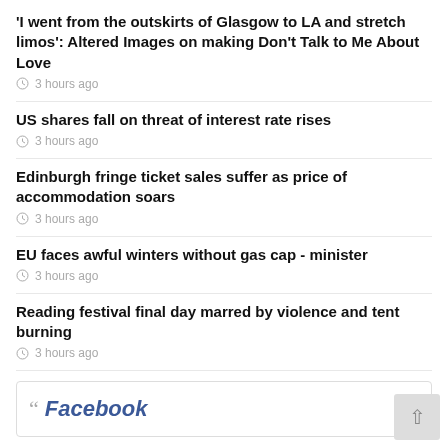'I went from the outskirts of Glasgow to LA and stretch limos': Altered Images on making Don't Talk to Me About Love
3 hours ago
US shares fall on threat of interest rate rises
3 hours ago
Edinburgh fringe ticket sales suffer as price of accommodation soars
3 hours ago
EU faces awful winters without gas cap - minister
3 hours ago
Reading festival final day marred by violence and tent burning
3 hours ago
“” Facebook
Tweets by The Dove